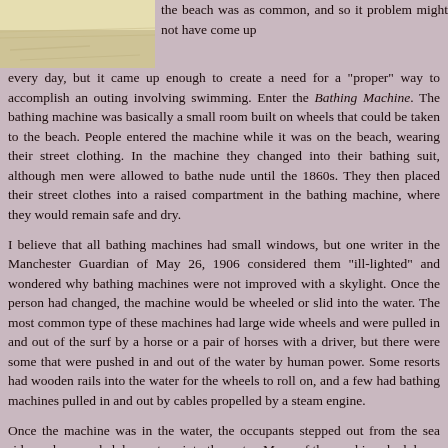[Figure (photo): Partial image of a beach or seaside scene, sepia/vintage toned, visible in the top-left corner of the page.]
the beach was as common, and so it problem might not have come up every day, but it came up enough to create a need for a "proper" way to accomplish an outing involving swimming. Enter the Bathing Machine. The bathing machine was basically a small room built on wheels that could be taken to the beach. People entered the machine while it was on the beach, wearing their street clothing. In the machine they changed into their bathing suit, although men were allowed to bathe nude until the 1860s. They then placed their street clothes into a raised compartment in the bathing machine, where they would remain safe and dry.
I believe that all bathing machines had small windows, but one writer in the Manchester Guardian of May 26, 1906 considered them "ill-lighted" and wondered why bathing machines were not improved with a skylight. Once the person had changed, the machine would be wheeled or slid into the water. The most common type of these machines had large wide wheels and were pulled in and out of the surf by a horse or a pair of horses with a driver, but there were some that were pushed in and out of the water by human power. Some resorts had wooden rails into the water for the wheels to roll on, and a few had bathing machines pulled in and out by cables propelled by a steam engine.
Once the machine was in the water, the occupants stepped out from the sea side, and proceeded down steps into the water. Many of the machines had doors front and back, but those with only one door would be backed into the sea or need to be turned around. The most essential element of the machines, was that it blocked any view of the bather from the shore. Some of the more luxurious machines were equipped with a canvas tent lowered from the seaside door, sometimes capable of being lowered to the water, giving the bather greater privacy. Bathing machines